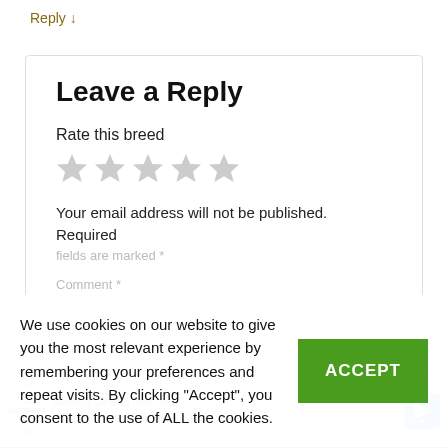Reply ↓
Leave a Reply
Rate this breed
[Figure (other): Five empty/grey star rating icons]
Your email address will not be published. Required
fields are marked *
Comment *
We use cookies on our website to give you the most relevant experience by remembering your preferences and repeat visits. By clicking "Accept", you consent to the use of ALL the cookies.
ACCEPT
[Figure (other): Ad banner: Mattress Firm - Sterling OPEN 9AM-9PM, 46301 Potomac Run Plaza, Suite 190, St with navigation arrow]